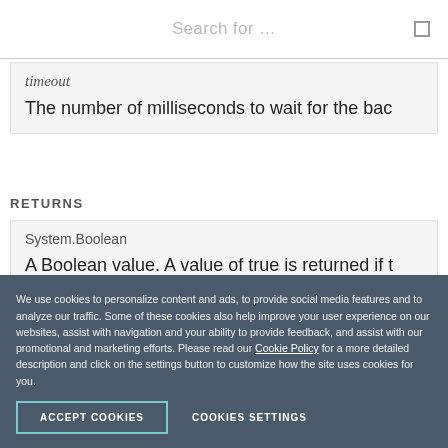Search for …
timeout
The number of milliseconds to wait for the bac
RETURNS
System.Boolean
A Boolean value. A value of true is returned if t
We use cookies to personalize content and ads, to provide social media features and to analyze our traffic. Some of these cookies also help improve your user experience on our websites, assist with navigation and your ability to provide feedback, and assist with our promotional and marketing efforts. Please read our Cookie Policy for a more detailed description and click on the settings button to customize how the site uses cookies for you.
ACCEPT COOKIES
COOKIES SETTINGS